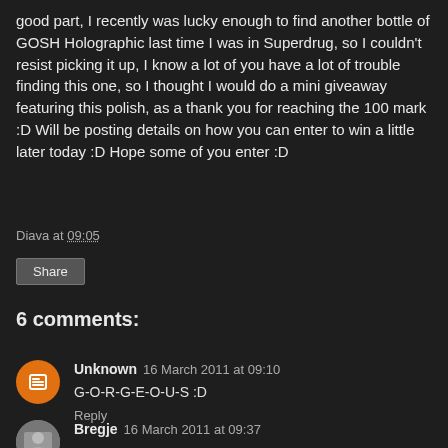good part, I recently was lucky enough to find another bottle of GOSH Holographic last time I was in Superdrug, so I couldn't resist picking it up, I know a lot of you have a lot of trouble finding this one, so I thought I would do a mini giveaway featuring this polish, as a thank you for reaching the 100 mark :D Will be posting details on how you can enter to win a little later today :D Hope some of you enter :D
Diava at 09:05
Share
6 comments:
Unknown 16 March 2011 at 09:10
G-O-R-G-E-O-U-S :D
Reply
Bregje 16 March 2011 at 09:37